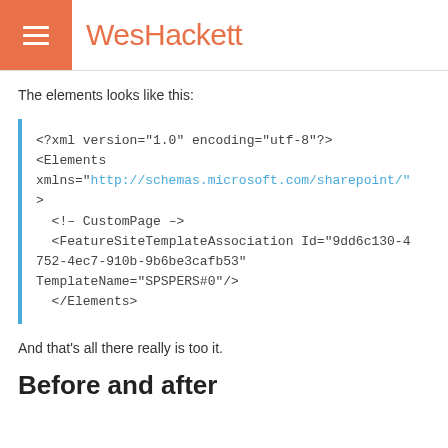WesHackett
The elements looks like this:
<?xml version="1.0" encoding="utf-8"?>
<Elements xmlns="http://schemas.microsoft.com/sharepoint/">
  <!-- CustomPage -->
  <FeatureSiteTemplateAssociation Id="9dd6c130-4752-4ec7-910b-9b6be3cafb53" TemplateName="SPSPERS#0"/>
</Elements>
And that's all there really is too it.
Before and after